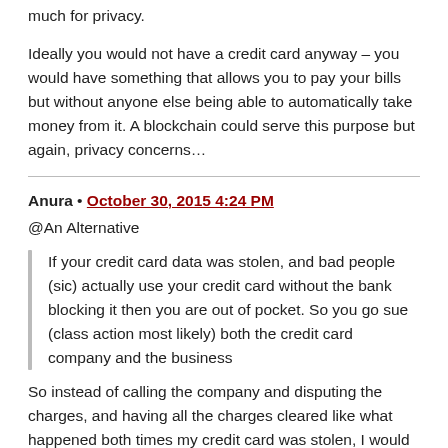much for privacy.
Ideally you would not have a credit card anyway – you would have something that allows you to pay your bills but without anyone else being able to automatically take money from it. A blockchain could serve this purpose but again, privacy concerns…
Anura • October 30, 2015 4:24 PM
@An Alternative
If your credit card data was stolen, and bad people (sic) actually use your credit card without the bank blocking it then you are out of pocket. So you go sue (class action most likely) both the credit card company and the business
So instead of calling the company and disputing the charges, and having all the charges cleared like what happened both times my credit card was stolen, I would have to hire a lawyer, go to court against the bank's multi-million dollar team of lawyers, and if I win I get my $1000 back? And it